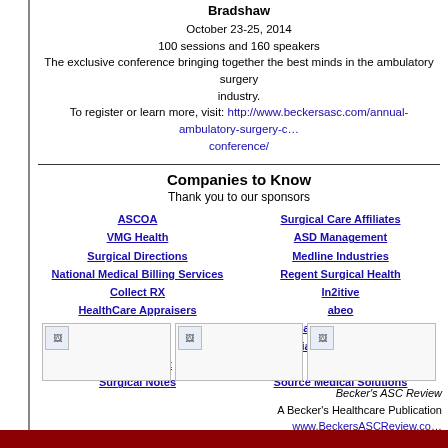Bradshaw
October 23-25, 2014
100 sessions and 160 speakers
The exclusive conference bringing together the best minds in the ambulatory surgery industry.
To register or learn more, visit: http://www.beckersasc.com/annual-ambulatory-surgery-conference/
Companies to Know
Thank you to our sponsors
ASCOA
VMG Health
Surgical Directions
National Medical Billing Services
Collect RX
HealthCare Appraisers
NAPA
Provista
Wright Direct
Surgical Notes
Surgical Care Affiliates
ASD Management
Medline Industries
Regent Surgical Health
In2itive
abeo
Meridian Surgical Partners
Anesthesia Business Consultants
EVEIA
Source Medical Solutions
[Figure (photo): Image placeholder 1]
[Figure (photo): Image placeholder 2]
[Figure (photo): Image placeholder 3]
Becker's ASC Review
A Becker's Healthcare Publication
www.BeckersASCReview.com
editorial@beckershealthcare.com
35 E. Wacker Drive, Suite 1782 | Chicago